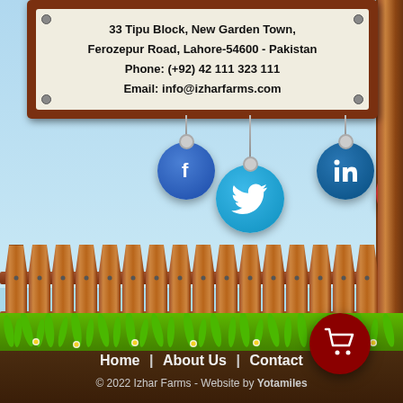33 Tipu Block, New Garden Town, Ferozepur Road, Lahore-54600 - Pakistan
Phone: (+92) 42 111 323 111
Email: info@izharfarms.com
[Figure (illustration): Social media icons (Facebook, Twitter, LinkedIn, Google+) hanging from strings below a wooden sign board, with a wooden fence, grass, flowers, and cartoon farm background]
Home  |  About Us  |  Contact
© 2022 Izhar Farms - Website by Yotamiles